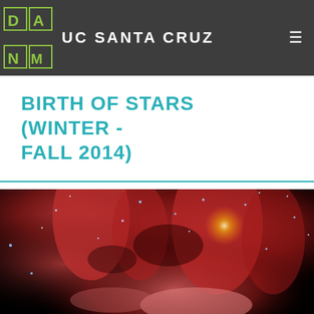UC SANTA CRUZ
BIRTH OF STARS (WINTER - FALL 2014)
[Figure (photo): Astronomical photo of a star-forming nebula with deep red/pink gas clouds and bright blue stars against a dark space background]